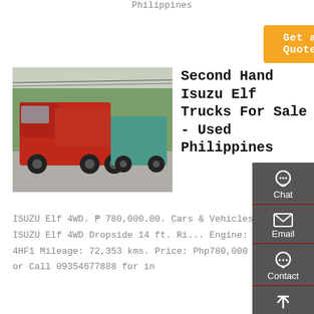Philippines
[Figure (other): Orange 'Get a Quote' button]
[Figure (photo): Photo of red dump trucks parked on a road with trees in the background]
Second Hand Isuzu Elf Trucks For Sale - Used Philippines
ISUZU Elf 4WD. ₱ 780,000.00. Cars & Vehicles. ISUZU Elf 4WD Dropside 14 ft. Ri... Engine: 4HF1 Mileage: 72,353 kms. Price: Php780,000 PM or Call 09354677888 for in